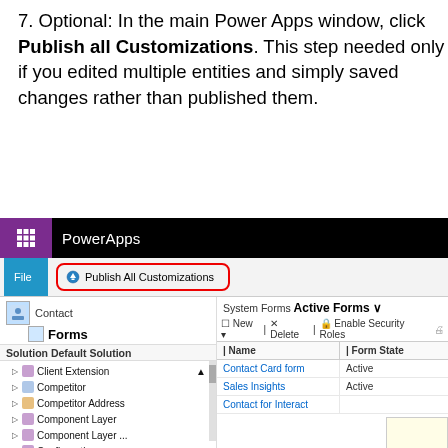7. Optional: In the main Power Apps window, click Publish all Customizations. This step needed only if you edited multiple entities and simply saved changes rather than published them.
[Figure (screenshot): Screenshot of PowerApps interface showing the top navigation bar with PowerApps branding, a ribbon with 'Publish All Customizations' button highlighted with a red rounded rectangle, a left panel showing Contact entity with Forms selected and a solution tree listing items like Client Extension, Competitor, Competitor Address, Component Layer, Component Layer..., Configuration, Connection, Connection Role, Connector Connector, Contact, and a right panel showing System Forms Active Forms with a grid listing Contact Card form (Active), Sales Insights (Active), and Contact for Interact rows.]